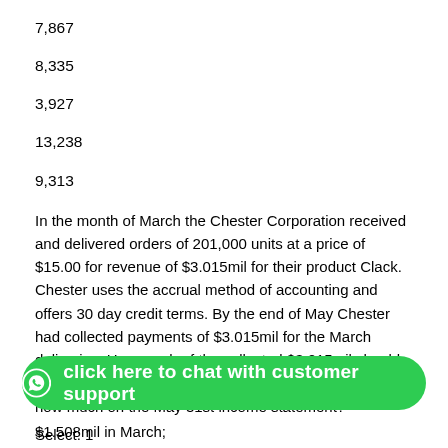7,867
8,335
3,927
13,238
9,313
In the month of March the Chester Corporation received and delivered orders of 201,000 units at a price of $15.00 for revenue of $3.015mil for their product Clack. Chester uses the accrual method of accounting and offers 30 day credit terms. By the end of May Chester had collected payments of $3.015mil for the March deliveries. How much of the collected $3.015mil should Chester show on the March 31st income statement and how much on the May 31st income statement?
Select: 1
$0.995mil in March;
$1.508mil in March;